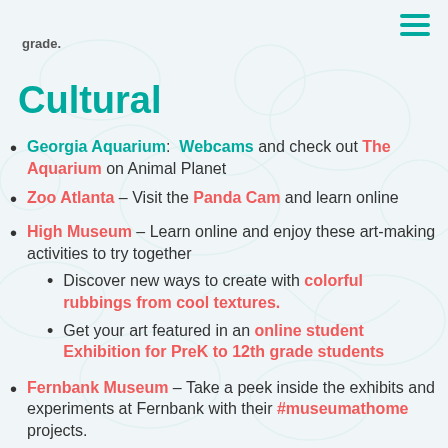grade.
Cultural
Georgia Aquarium: Webcams and check out The Aquarium on Animal Planet
Zoo Atlanta – Visit the Panda Cam and learn online
High Museum – Learn online and enjoy these art-making activities to try together
Discover new ways to create with colorful rubbings from cool textures.
Get your art featured in an online student Exhibition for PreK to 12th grade students
Fernbank Museum – Take a peek inside the exhibits and experiments at Fernbank with their #museumathome projects.